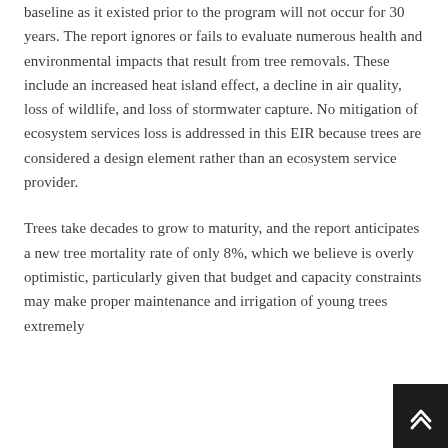baseline as it existed prior to the program will not occur for 30 years. The report ignores or fails to evaluate numerous health and environmental impacts that result from tree removals. These include an increased heat island effect, a decline in air quality, loss of wildlife, and loss of stormwater capture. No mitigation of ecosystem services loss is addressed in this EIR because trees are considered a design element rather than an ecosystem service provider.
Trees take decades to grow to maturity, and the report anticipates a new tree mortality rate of only 8%, which we believe is overly optimistic, particularly given that budget and capacity constraints may make proper maintenance and irrigation of young trees extremely